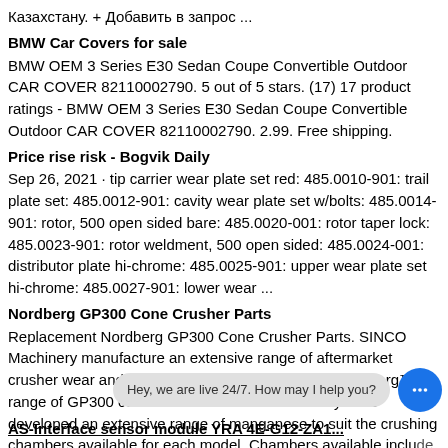Казахстану. + Добавить в запрос ...
BMW Car Covers for sale
BMW OEM 3 Series E30 Sedan Coupe Convertible Outdoor CAR COVER 82110002790. 5 out of 5 stars. (17) 17 product ratings - BMW OEM 3 Series E30 Sedan Coupe Convertible Outdoor CAR COVER 82110002790. 2.99. Free shipping.
Price rise risk - Bogvik Daily
Sep 26, 2021 · tip carrier wear plate set red: 485.0010-901: trail plate set: 485.0012-901: cavity wear plate set w/bolts: 485.0014-901: rotor, 500 open sided bare: 485.0020-001: rotor taper lock: 485.0023-901: rotor weldment, 500 open sided: 485.0024-001: distributor plate hi-chrome: 485.0025-901: upper wear plate set hi-chrome: 485.0027-901: lower wear ...
Nordberg GP300 Cone Crusher Parts
Replacement Nordberg GP300 Cone Crusher Parts. SINCO Machinery manufacture an extensive range of aftermarket crusher wear and spare parts to suit the Metso™ Nordberg™ range of GP300 cone crushers. SINCO Machinery have developed an extensive range of manganese to suit the crushing chambers available for each model. Chambers available include ... C200 BOLT HEX ISO401... sh steel castings crusher with their head ball kubota kn43a
AS-Interface sensor module YRA 4E-G12-ZA1...